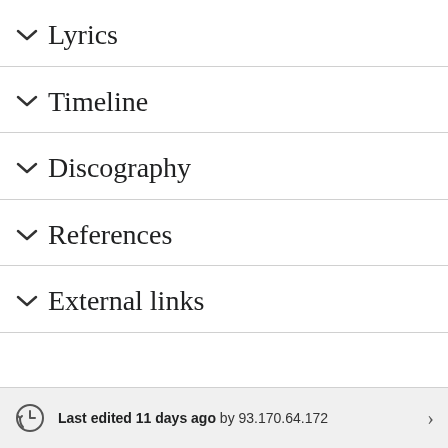∨ Lyrics
∨ Timeline
∨ Discography
∨ References
∨ External links
Last edited 11 days ago by 93.170.64.172